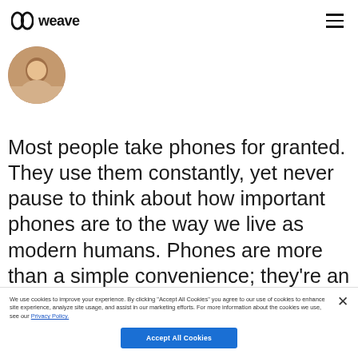weave
[Figure (photo): Circular profile photo of a person, partially visible at the top left]
Most people take phones for granted. They use them constantly, yet never pause to think about how important phones are to the way we live as modern humans. Phones are more than a simple convenience; they're an integral part of how our society is
We use cookies to improve your experience. By clicking "Accept All Cookies" you agree to our use of cookies to enhance site experience, analyze site usage, and assist in our marketing efforts. For more information about the cookies we use, see our Privacy Policy.
Accept All Cookies